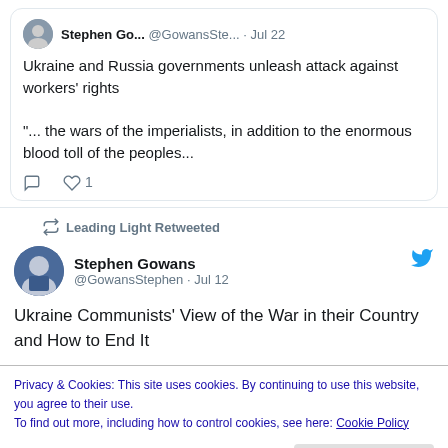[Figure (screenshot): Tweet by Stephen Go... @GowansSte... Jul 22: Ukraine and Russia governments unleash attack against workers' rights. '... the wars of the imperialists, in addition to the enormous blood toll of the peoples...']
Leading Light Retweeted
[Figure (photo): Profile photo of Stephen Gowans]
Stephen Gowans @GowansStephen · Jul 12
Ukraine Communists' View of the War in their Country and How to End It
Privacy & Cookies: This site uses cookies. By continuing to use this website, you agree to their use.
To find out more, including how to control cookies, see here: Cookie Policy
Close and accept
say: